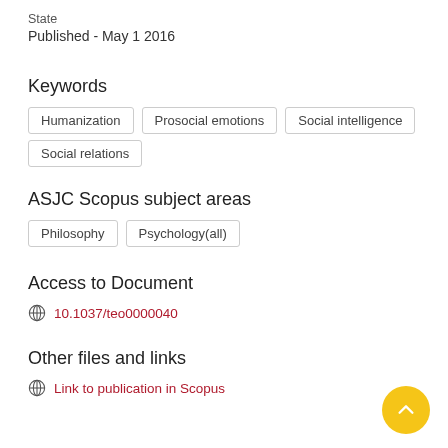State
Published - May 1 2016
Keywords
Humanization
Prosocial emotions
Social intelligence
Social relations
ASJC Scopus subject areas
Philosophy
Psychology(all)
Access to Document
10.1037/teo0000040
Other files and links
Link to publication in Scopus